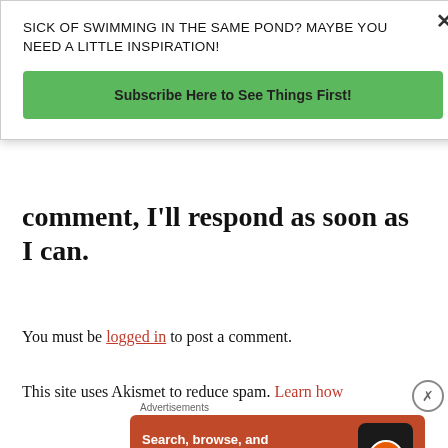SICK OF SWIMMING IN THE SAME POND? MAYBE YOU NEED A LITTLE INSPIRATION!
Subscribe Here to See Things First!
comment, I'll respond as soon as I can.
You must be logged in to post a comment.
This site uses Akismet to reduce spam. Learn how
[Figure (screenshot): DuckDuckGo advertisement banner: orange background with text 'Search, browse, and email with more privacy. All in One Free App' and DuckDuckGo logo with phone graphic]